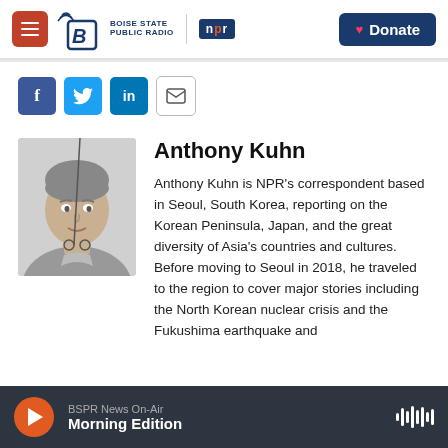Boise State Public Radio | NPR | Donate
[Figure (screenshot): Social sharing icons: Facebook, Twitter, LinkedIn, Email]
[Figure (photo): Black and white headshot photo of Anthony Kuhn]
Anthony Kuhn
Anthony Kuhn is NPR's correspondent based in Seoul, South Korea, reporting on the Korean Peninsula, Japan, and the great diversity of Asia's countries and cultures. Before moving to Seoul in 2018, he traveled to the region to cover major stories including the North Korean nuclear crisis and the Fukushima earthquake and
BSPR News On-Air | Morning Edition